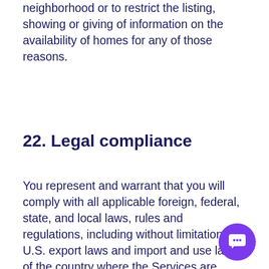neighborhood or to restrict the listing, showing or giving of information on the availability of homes for any of those reasons.
22. Legal compliance
You represent and warrant that you will comply with all applicable foreign, federal, state, and local laws, rules and regulations, including without limitation, U.S. export laws and import and use laws of the country where the Services are accessed or used you are not: (a) located in a country that is subject to a U.S. Government embargo, or